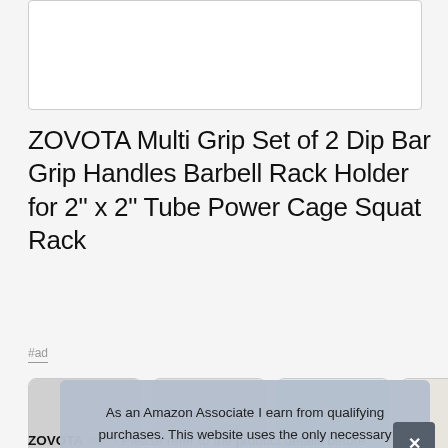[Figure (photo): Product image placeholder area, white rectangle with border]
ZOVOTA Multi Grip Set of 2 Dip Bar Grip Handles Barbell Rack Holder for 2" x 2" Tube Power Cage Squat Rack
#ad
[Figure (photo): Row of four product thumbnail images showing dip bar grip handles]
As an Amazon Associate I earn from qualifying purchases. This website uses the only necessary cookies to ensure you get the best experience on our website. More information
ZOVOTA #ad - Please refer to the product details before